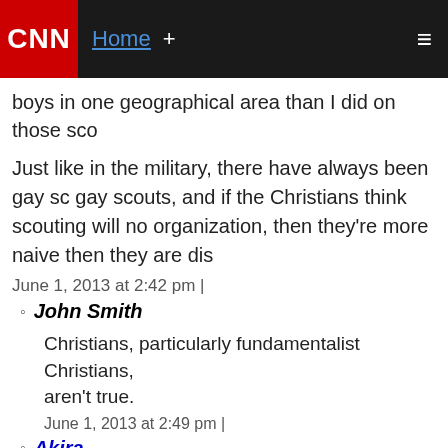CNN | Home +
boys in one geographical area than I did on those sco
Just like in the military, there have always been gay sc gay scouts, and if the Christians think scouting will no organization, then they're more naive then they are dis
June 1, 2013 at 2:42 pm |
John Smith
Christians, particularly fundamentalist Christians, aren't true.
June 1, 2013 at 2:49 pm |
Akira
This is true.
It's absolutely ridiculous. And as if keeping gays address the pedophile problem with the scout m pedophilia are two complete and separate things Although you will not convince ignorant bigots of